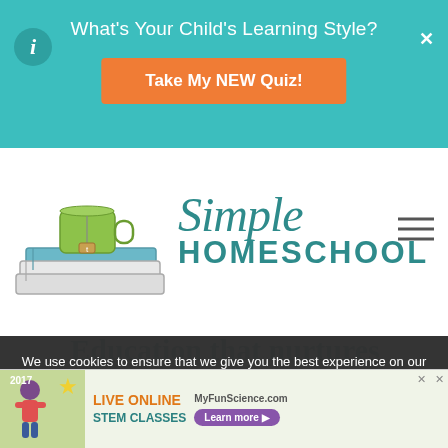What's Your Child's Learning Style?
Take My NEW Quiz!
[Figure (logo): Simple Homeschool logo with stacked books and green mug illustration, with 'Simple Homeschool' text in teal]
Education that nurtures education that heals
We use cookies to ensure that we give you the best experience on our website. If you continue to use this site, you consent to the use of cookies.
OK   Learn more.
[Figure (infographic): Live Online STEM Classes advertisement banner for MyFunScience.com with Learn more button]